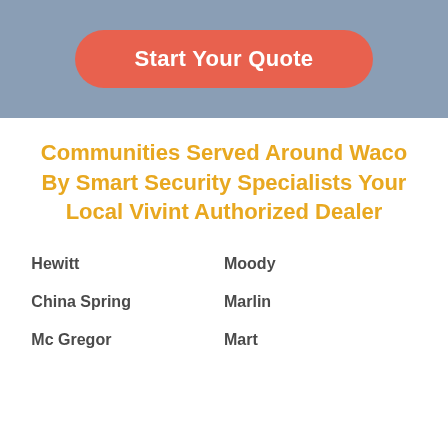[Figure (other): Coral/red rounded button with white bold text 'Start Your Quote' on a steel blue background header band]
Communities Served Around Waco By Smart Security Specialists Your Local Vivint Authorized Dealer
Hewitt
Moody
China Spring
Marlin
Mc Gregor
Mart